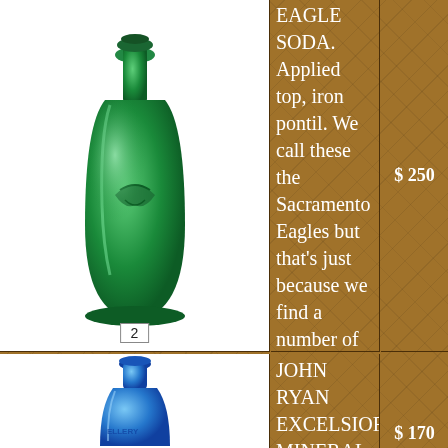[Figure (photo): Green glass Eagle Soda bottle with applied top and iron pontil, lot number 2]
EAGLE SODA. Applied top, iron pontil. We call these the Sacramento Eagles but that's just because we find a number of them in the west and more specifically Sacramento. There are different variants and this is the one without the slugplate. That might lead you to believe it's an older variant and you might be right. The eagle is bold and beautiful and the bottle itself is in good shape after a light cleaning by Lou Lambert. There is some nice light crudity, good color with some minor remaining spots of wear on close inspection. A grade 8 early soda.
$ 250
[Figure (photo): Blue glass John Ryan Excelsior Mineral Water Savannah bottle with applied top]
JOHN RYAN EXCELSIOR MINERAL WATER SAVANNAH GA 1859 with UNION GLASSWORKS on reverse. Iron pontil. Here's a soda with some
$ 170